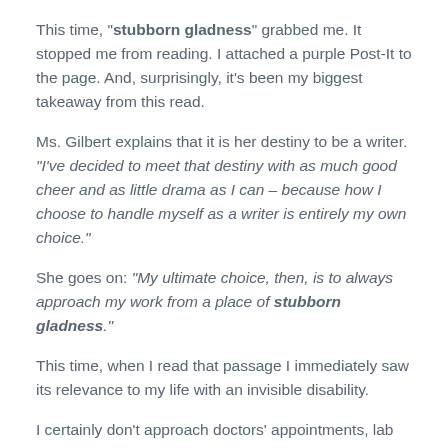This time, "stubborn gladness" grabbed me. It stopped me from reading. I attached a purple Post-It to the page. And, surprisingly, it's been my biggest takeaway from this read.
Ms. Gilbert explains that it is her destiny to be a writer. "I've decided to meet that destiny with as much good cheer and as little drama as I can – because how I choose to handle myself as a writer is entirely my own choice."
She goes on: "My ultimate choice, then, is to always approach my work from a place of stubborn gladness."
This time, when I read that passage I immediately saw its relevance to my life with an invisible disability.
I certainly don't approach doctors' appointments, lab